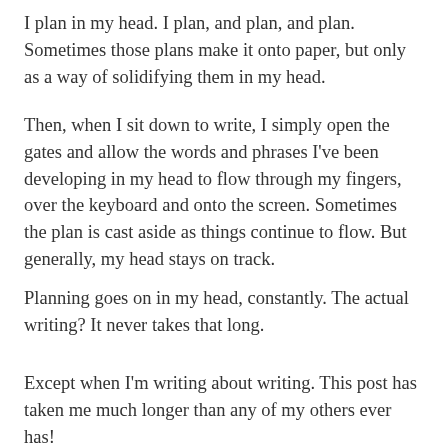I plan in my head. I plan, and plan, and plan. Sometimes those plans make it onto paper, but only as a way of solidifying them in my head.
Then, when I sit down to write, I simply open the gates and allow the words and phrases I’ve been developing in my head to flow through my fingers, over the keyboard and onto the screen. Sometimes the plan is cast aside as things continue to flow. But generally, my head stays on track.
Planning goes on in my head, constantly. The actual writing? It never takes that long.
Except when I’m writing about writing. This post has taken me much longer than any of my others ever has!